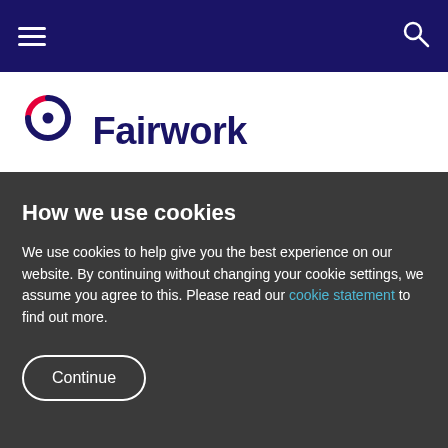Fairwork — navigation bar with hamburger menu and search icon
[Figure (logo): Fairwork logo: circular icon with red arc on top-left, dark blue arc on bottom-right, and dark blue dot in centre, next to the word Fairwork in dark navy bold text]
How we use cookies
We use cookies to help give you the best experience on our website. By continuing without changing your cookie settings, we assume you agree to this. Please read our cookie statement to find out more.
Continue